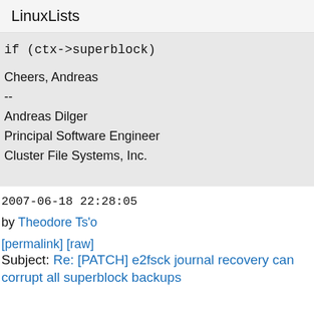LinuxLists
if (ctx->superblock)
Cheers, Andreas
--
Andreas Dilger
Principal Software Engineer
Cluster File Systems, Inc.
2007-06-18 22:28:05
by Theodore Ts'o
[permalink] [raw]
Subject: Re: [PATCH] e2fsck journal recovery can corrupt all superblock backups